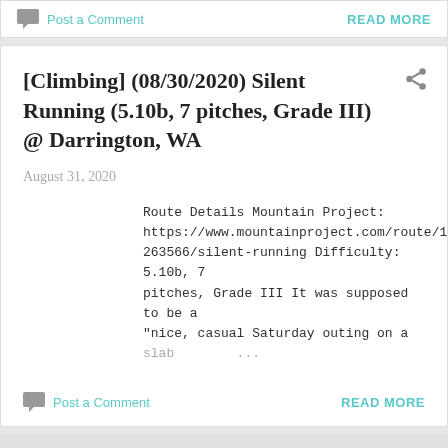Post a Comment   READ MORE
[Climbing] (08/30/2020) Silent Running (5.10b, 7 pitches, Grade III) @ Darrington, WA
August 31, 2020
Route Details Mountain Project: https://www.mountainproject.com/route/108263566/silent-running Difficulty: 5.10b, 7 pitches, Grade III It was supposed to be a "nice, casual Saturday outing on a slab ...
Post a Comment   READ MORE